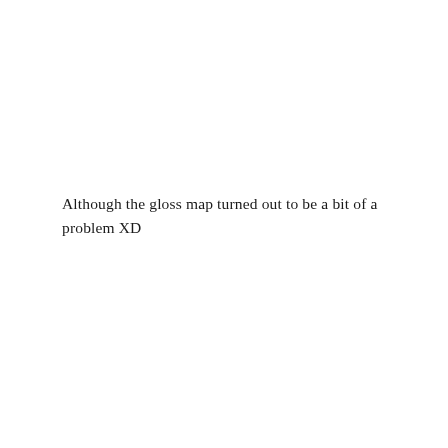Although the gloss map turned out to be a bit of a problem XD